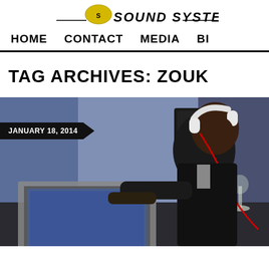SOUND SYSTEM
HOME   CONTACT   MEDIA   BI...
TAG ARCHIVES: ZOUK
[Figure (photo): A DJ wearing white Beats by Dre headphones, leaning over a laptop at a DJ setup. Wine glasses visible on the table. Speaker on a stand in the background. Blue/purple ambient lighting. Date badge reads JANUARY 18, 2014.]